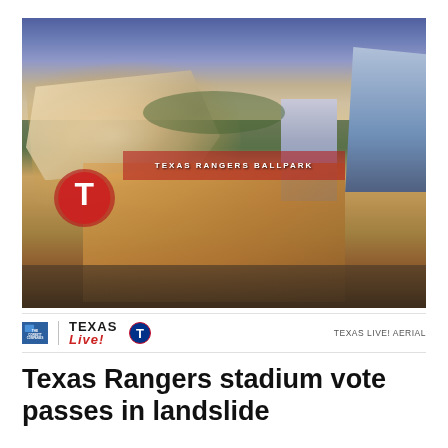[Figure (photo): Aerial rendering of Texas Live! entertainment district and Texas Rangers baseball stadium complex in Arlington, TX, at dusk with glowing lights, showing the open-air baseball park, plaza areas, AT&T Stadium in background right, and Live! by Loews hotel building]
TEXAS LIVE! AERIAL
Texas Rangers stadium vote passes in landslide